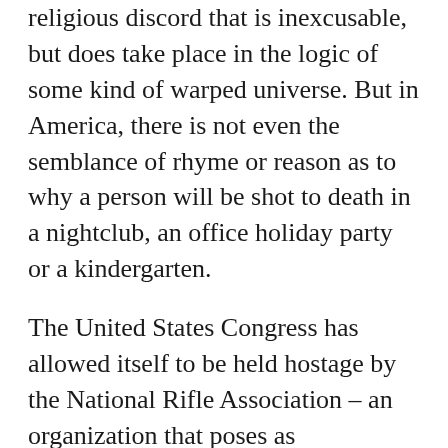religious discord that is inexcusable, but does take place in the logic of some kind of warped universe. But in America, there is not even the semblance of rhyme or reason as to why a person will be shot to death in a nightclub, an office holiday party or a kindergarten.
The United States Congress has allowed itself to be held hostage by the National Rifle Association – an organization that poses as representing a citizen's advocacy group when in fact it is a trade and industry association, the industry being the manufacture of guns and the trade being the unrestricted sale